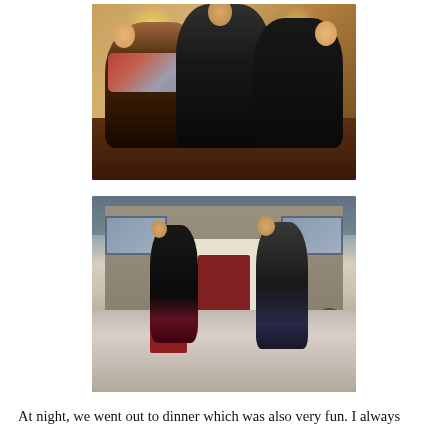[Figure (photo): Indoor photo of three people standing together in a warmly lit room. An older woman with glasses and a pink/red scarf on the left, a young man in the center, and a young woman on the right wearing a black jacket.]
[Figure (photo): Outdoor photo of two people walking on a snow-dusted lawn in front of a building with a white portico and red door. A young girl in a black coat with red boots on the left, and a young man in a dark jacket on the right.]
At night, we went out to dinner which was also very fun. I always